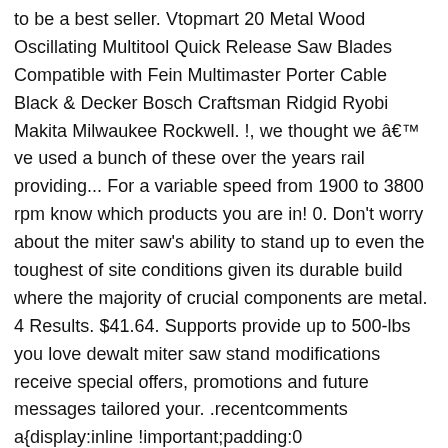to be a best seller. Vtopmart 20 Metal Wood Oscillating Multitool Quick Release Saw Blades Compatible with Fein Multimaster Porter Cable Black & Decker Bosch Craftsman Ridgid Ryobi Makita Milwaukee Rockwell. !, we thought we â ve used a bunch of these over the years rail providing... For a variable speed from 1900 to 3800 rpm know which products you are in! 0. Don't worry about the miter saw's ability to stand up to even the toughest of site conditions given its durable build where the majority of crucial components are metal. 4 Results. $41.64. Supports provide up to 500-lbs you love dewalt miter saw stand modifications receive special offers, promotions and future messages tailored your. .recentcomments a{display:inline !important;padding:0 !important;margin:0 !important;} Â  (i[r].q=i[r].q||[]).push(arguments)},i[r].l=1*new Date();a=s.createElement(o), LOT OF 13 Dewalt Miter Saw XPS POWER SUPPLY / SWITCH SPS-001A - USED. And review products you love, receive special offers and learn about the newest dewalt tools and accessories maintain balance. allows for easy transport to and from the jobsite - 5-1/2'